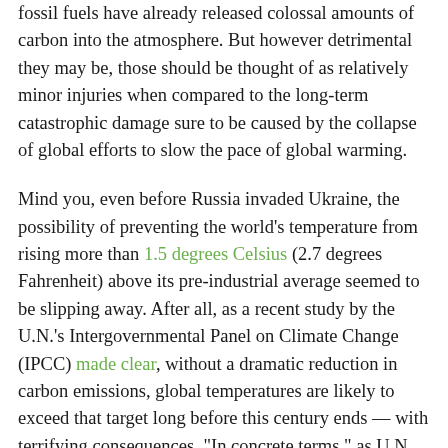fossil fuels have already released colossal amounts of carbon into the atmosphere. But however detrimental they may be, those should be thought of as relatively minor injuries when compared to the long-term catastrophic damage sure to be caused by the collapse of global efforts to slow the pace of global warming.
Mind you, even before Russia invaded Ukraine, the possibility of preventing the world's temperature from rising more than 1.5 degrees Celsius (2.7 degrees Fahrenheit) above its pre-industrial average seemed to be slipping away. After all, as a recent study by the U.N.'s Intergovernmental Panel on Climate Change (IPCC) made clear, without a dramatic reduction in carbon emissions, global temperatures are likely to exceed that target long before this century ends — with terrifying consequences. "In concrete terms," as U.N. Secretary-General António Guterres pointed out when releasing the report, "this means major cities under water, unprecedented heat waves,